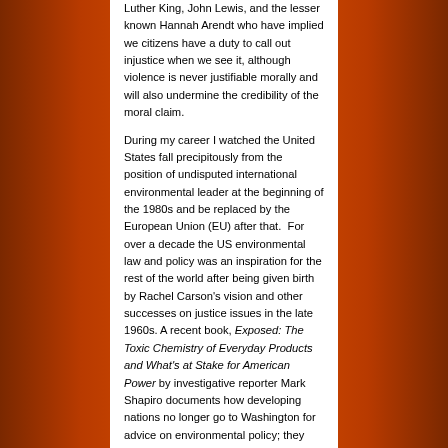Luther King, John Lewis, and the lesser known Hannah Arendt who have implied we citizens have a duty to call out injustice when we see it, although violence is never justifiable morally and will also undermine the credibility of the moral claim.
During my career I watched the United States fall precipitously from the position of undisputed international environmental leader at the beginning of the 1980s and be replaced by the European Union (EU) after that.  For over a decade the US environmental law and policy was an inspiration for the rest of the world after being given birth by Rachel Carson's vision and other successes on justice issues in the late 1960s. A recent book, Exposed: The Toxic Chemistry of Everyday Products and What's at Stake for American Power by investigative reporter Mark Shapiro documents how developing nations no longer go to Washington for advice on environmental policy; they now go to Brussels.[i]  The European Union is now widely viewed to be the global leader on environmental programs.  Shapiro explains how this shift in power has